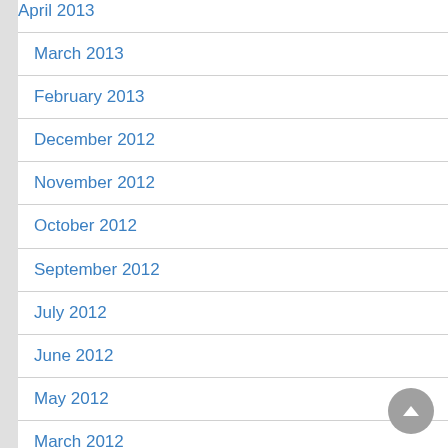April 2013
March 2013
February 2013
December 2012
November 2012
October 2012
September 2012
July 2012
June 2012
May 2012
March 2012
January 2012
December 2011